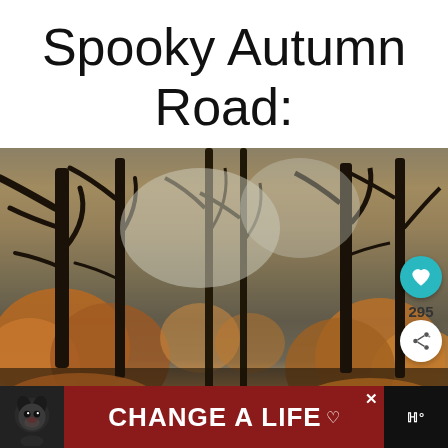Spooky Autumn Road:
[Figure (photo): A spooky autumn forest road scene with dark bare tree silhouettes against a pale sky, surrounded by orange and brown autumn foliage. Social media overlay buttons visible on the right side including a teal heart button and a share button with count 295.]
[Figure (infographic): Advertisement banner at the bottom showing a black Labrador dog on the left, a dark red/maroon background with white bold text 'CHANGE A LIFE' and a heart icon, with a close X button in the top right, and additional content on the far right on black background.]